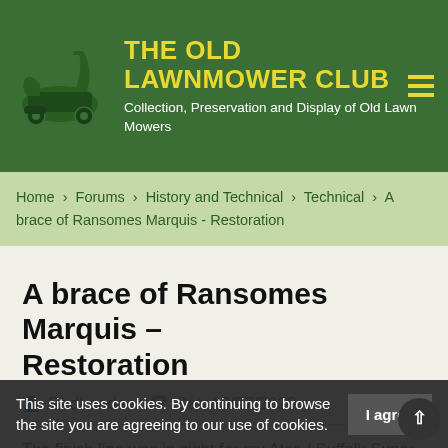THE OLD LAWNMOWER CLUB — Collection, Preservation and Display of Old Lawn Mowers
Home › Forums › History and Technical › Technical › A brace of Ransomes Marquis - Restoration
A brace of Ransomes Marquis – Restoration
RedLeader   Sat, 18/07/2020
The finish line was in sight for my Atco / Suffolk Super Colt and I wanted to get something lined up for my next project. I spotted a Ransomes Marquis 18" non runner due to no spark at a reasonable price from a chap at
This site uses cookies. By continuing to browse the site you are agreeing to our use of cookies.   I agree